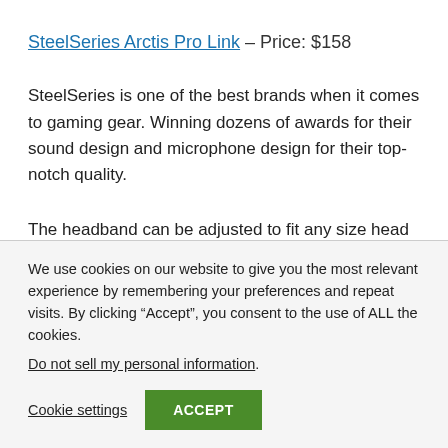SteelSeries Arctis Pro Link – Price: $158
SteelSeries is one of the best brands when it comes to gaming gear. Winning dozens of awards for their sound design and microphone design for their top-notch quality.
The headband can be adjusted to fit any size head
We use cookies on our website to give you the most relevant experience by remembering your preferences and repeat visits. By clicking “Accept”, you consent to the use of ALL the cookies.
Do not sell my personal information.
Cookie settings  ACCEPT